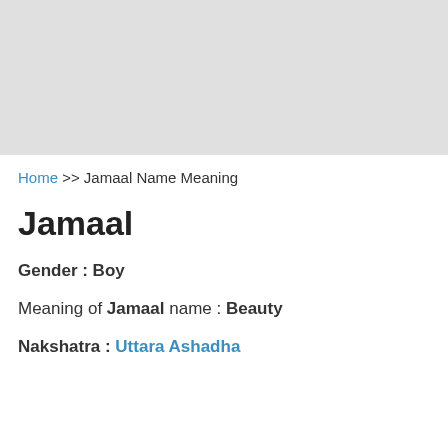[Figure (other): Gray banner/advertisement placeholder area at the top of the page]
Home >> Jamaal Name Meaning
Jamaal
Gender : Boy
Meaning of Jamaal name : Beauty
Nakshatra : Uttara Ashadha